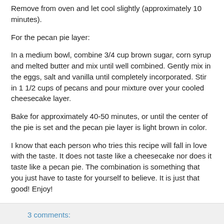Remove from oven and let cool slightly (approximately 10 minutes).
For the pecan pie layer:
In a medium bowl, combine 3/4 cup brown sugar, corn syrup and melted butter and mix until well combined. Gently mix in the eggs, salt and vanilla until completely incorporated. Stir in 1 1/2 cups of pecans and pour mixture over your cooled cheesecake layer.
Bake for approximately 40-50 minutes, or until the center of the pie is set and the pecan pie layer is light brown in color.
I know that each person who tries this recipe will fall in love with the taste. It does not taste like a cheesecake nor does it taste like a pecan pie. The combination is something that you just have to taste for yourself to believe. It is just that good! Enjoy!
3 comments: